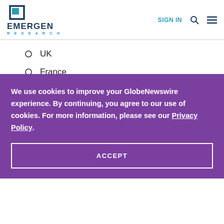EMERGEN RESEARCH — SIGN IN
UK
France
We use cookies to improve your GlobeNewswire experience. By continuing, you agree to our use of cookies. For more information, please see our Privacy Policy.
ACCEPT